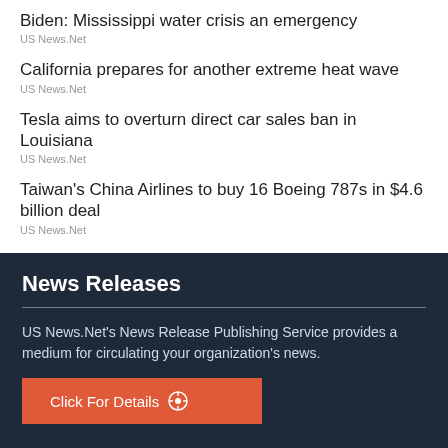Biden: Mississippi water crisis an emergency
US News.Net
California prepares for another extreme heat wave
US News.Net
Tesla aims to overturn direct car sales ban in Louisiana
US News.Net
Taiwan's China Airlines to buy 16 Boeing 787s in $4.6 billion deal
US News.Net
News Releases
US News.Net's News Release Publishing Service provides a medium for circulating your organization's news.
Click For Details